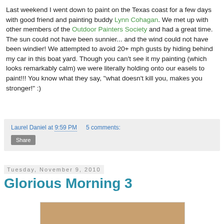Last weekend I went down to paint on the Texas coast for a few days with good friend and painting buddy Lynn Cohagan. We met up with other members of the Outdoor Painters Society and had a great time. The sun could not have been sunnier... and the wind could not have been windier! We attempted to avoid 20+ mph gusts by hiding behind my car in this boat yard. Though you can't see it my painting (which looks remarkably calm) we were literally holding onto our easels to paint!!! You know what they say, "what doesn't kill you, makes you stronger!" :)
Laurel Daniel at 9:59 PM   5 comments:
Share
Tuesday, November 9, 2010
Glorious Morning 3
[Figure (photo): Partial view of a painting or artwork with brown/tan tones, cropped at bottom of page]